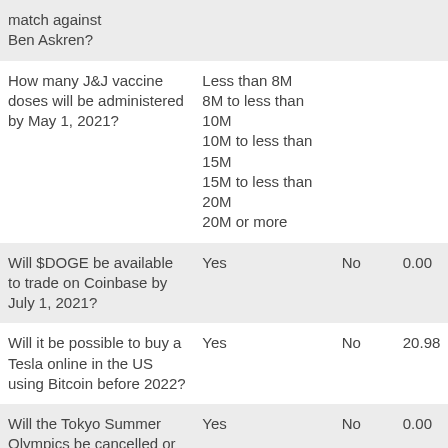| Question | Options |  | Value |
| --- | --- | --- | --- |
| match against Ben Askren? |  |  |  |
| How many J&J vaccine doses will be administered by May 1, 2021? | Less than 8M
8M to less than 10M
10M to less than 15M
15M to less than 20M
20M or more |  |  |
| Will $DOGE be available to trade on Coinbase by July 1, 2021? | Yes | No | 0.00 |
| Will it be possible to buy a Tesla online in the US using Bitcoin before 2022? | Yes | No | 20.98 |
| Will the Tokyo Summer Olympics be cancelled or | Yes | No | 0.00 |